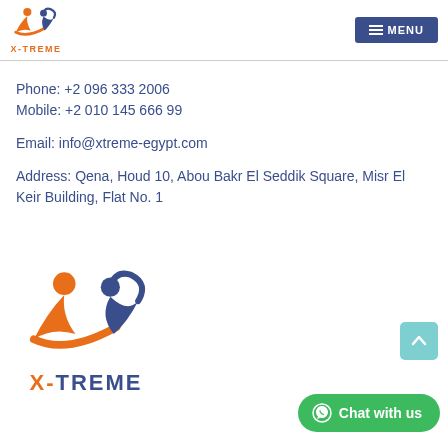[Figure (logo): X-TREME logo small in header, orange and blue figures with orange X-TREME text]
≡ MENU
Phone: +2 096 333 2006
Mobile: +2 010 145 666 99
Email: info@xtreme-egypt.com
Address: Qena, Houd 10, Abou Bakr El Seddik Square, Misr El Keir Building, Flat No. 1
[Figure (logo): Large X-TREME logo, orange and blue jumping figures, orange X- and blue TREME text below]